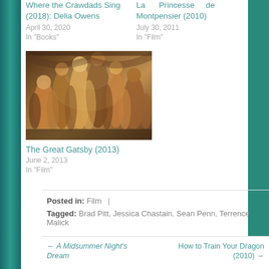Where the Crawdads Sing (2018): Delia Owens
April 30, 2020
In "Books"
La Princesse de Montpensier (2010)
July 30, 2011
In "Film"
[Figure (photo): A crowd scene from The Great Gatsby (2013), showing party-goers in 1920s costumes in a ballroom setting]
The Great Gatsby (2013)
June 2, 2013
In "Film"
Posted in: Film
Tagged: Brad Pitt, Jessica Chastain, Sean Penn, Terrence Malick
← A Midsummer Night's Dream    How to Train Your Dragon (2010) →